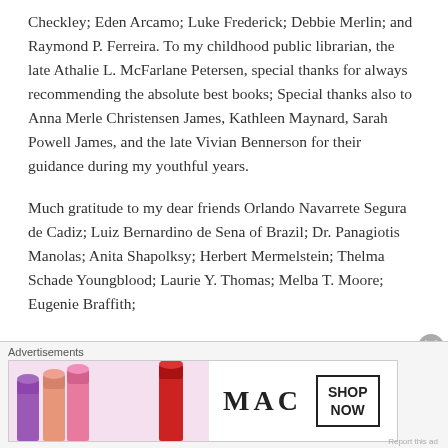Checkley; Eden Arcamo; Luke Frederick; Debbie Merlin; and Raymond P. Ferreira. To my childhood public librarian, the late Athalie L. McFarlane Petersen, special thanks for always recommending the absolute best books; Special thanks also to Anna Merle Christensen James, Kathleen Maynard, Sarah Powell James, and the late Vivian Bennerson for their guidance during my youthful years.
Much gratitude to my dear friends Orlando Navarrete Segura de Cadiz; Luiz Bernardino de Sena of Brazil; Dr. Panagiotis Manolas; Anita Shapolksy; Herbert Mermelstein; Thelma Schade Youngblood; Laurie Y. Thomas; Melba T. Moore; Eugenie Braffith;
Advertisements
[Figure (photo): MAC Cosmetics advertisement banner showing colorful lipsticks, MAC logo, and SHOP NOW button]